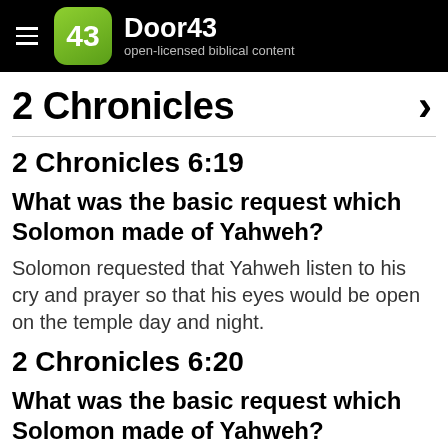Door43 open-licensed biblical content
2 Chronicles
2 Chronicles 6:19
What was the basic request which Solomon made of Yahweh?
Solomon requested that Yahweh listen to his cry and prayer so that his eyes would be open on the temple day and night.
2 Chronicles 6:20
What was the basic request which Solomon made of Yahweh?